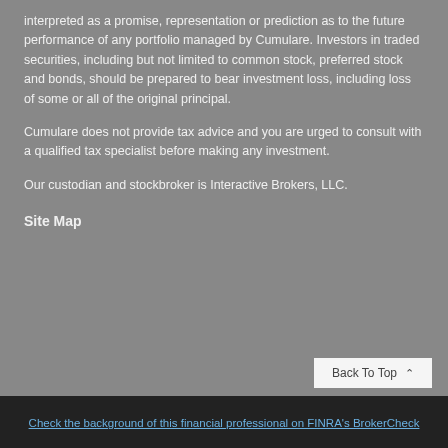interpreted as a promise, representation or prediction as to the future performance of any portfolio managed by Cumulare. Investors in traded securities, including but not limited to common stock, preferred stock and bonds, should be prepared to bear investment loss, including loss of some or all of the original principal.
Cumulare does not provide tax advice and you are urged to consult with a qualified tax specialist before making any investment.
Our custodian and stockbroker is Interactive Brokers, LLC.
Site Map
Check the background of this financial professional on FINRA's BrokerCheck